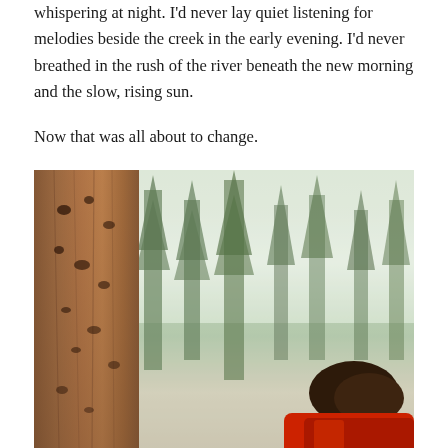whispering at night. I'd never lay quiet listening for melodies beside the creek in the early evening. I'd never breathed in the rush of the river beneath the new morning and the slow, rising sun.
Now that was all about to change.
[Figure (photo): A person in a red jacket standing at the base of a massive sequoia tree, looking up. The enormous reddish-brown trunk dominates the left side of the image. Tall conifer trees are visible in the misty background against a pale sky.]